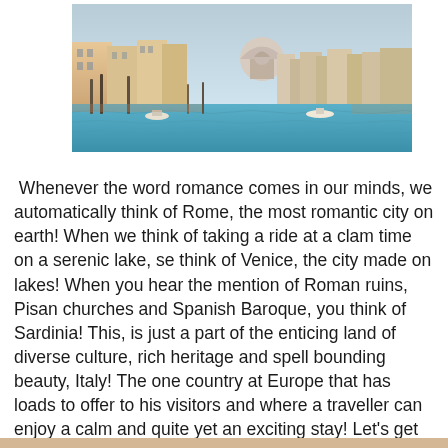[Figure (photo): Aerial view of Venice Grand Canal with colorful buildings, boats, and the Santa Maria della Salute church dome in the background]
Whenever the word romance comes in our minds, we automatically think of Rome, the most romantic city on earth! When we think of taking a ride at a clam time on a serenic lake, se think of Venice, the city made on lakes! When you hear the mention of Roman ruins, Pisan churches and Spanish Baroque, you think of Sardinia! This, is just a part of the enticing land of diverse culture, rich heritage and spell bounding beauty, Italy! The one country at Europe that has loads to offer to his visitors and where a traveller can enjoy a calm and quite yet an exciting stay! Let's get to know some of these enthralling inclusions of Italy, that's a mandate visit when here!